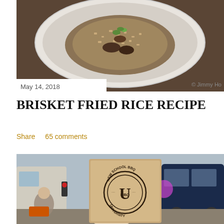[Figure (photo): Overhead photo of a white plate with brisket fried rice garnished with cilantro on a dark wooden surface. Copyright mark: © Jimmy Ho]
May 14, 2018
© Jimmy Ho
BRISKET FRIED RICE RECIPE
Share    65 comments
[Figure (photo): Outdoor photo of a hand holding a kraft paper notebook with a circular stamp logo reading 'NEW SCHOOL BBQ UNIVERSITY'. In background: food trucks, people sitting, overcast sky.]